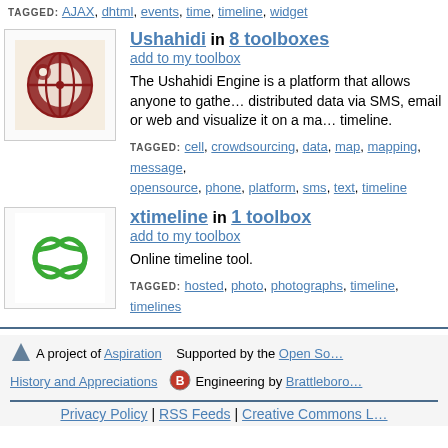TAGGED: AJAX, dhtml, events, time, timeline, widget
Ushahidi in 8 toolboxes
add to my toolbox
The Ushahidi Engine is a platform that allows anyone to gather distributed data via SMS, email or web and visualize it on a map or timeline.
TAGGED: cell, crowdsourcing, data, map, mapping, message, opensource, phone, platform, sms, text, timeline
xtimeline in 1 toolbox
add to my toolbox
Online timeline tool.
TAGGED: hosted, photo, photographs, timeline, timelines
A project of Aspiration   Supported by the Open So...
History and Appreciations   Engineering by Brattleboro...
Privacy Policy | RSS Feeds | Creative Commons L...